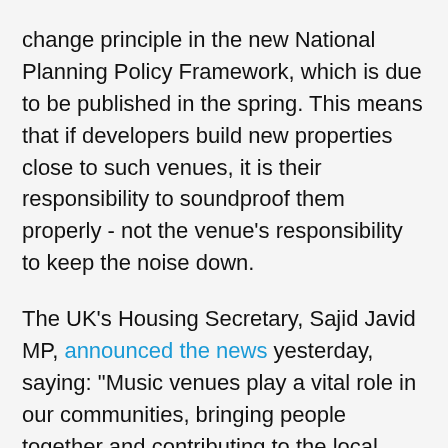change principle in the new National Planning Policy Framework, which is due to be published in the spring. This means that if developers build new properties close to such venues, it is their responsibility to soundproof them properly - not the venue's responsibility to keep the noise down.
The UK's Housing Secretary, Sajid Javid MP, announced the news yesterday, saying: "Music venues play a vital role in our communities, bringing people together and contributing to the local economy and supporting the country's grass roots music culture. I have always thought it unfair that the burden is on long-standing music venues to solve noise issues when property developers choose to build nearby."
Michael Dugher, chief executive of UK Music - an industry body which has long campaigned for the agent of change principle to be adopted - said: "We are delighted the government is supporting agent of change and strengthening the rules to protect grassroots music venues